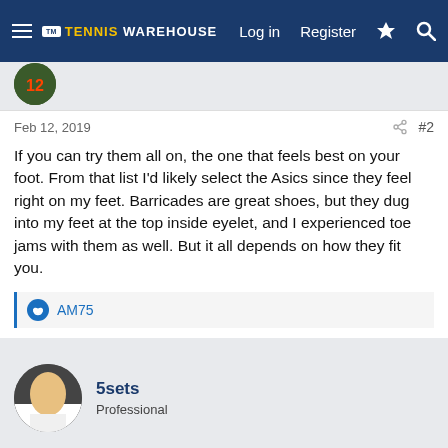TM Tennis Warehouse — Log in  Register
Feb 12, 2019  #2
If you can try them all on, the one that feels best on your foot. From that list I'd likely select the Asics since they feel right on my feet. Barricades are great shoes, but they dug into my feet at the top inside eyelet, and I experienced toe jams with them as well. But it all depends on how they fit you.
AM75
5sets
Professional
Feb 12, 2019  #3
timmy1998 said: